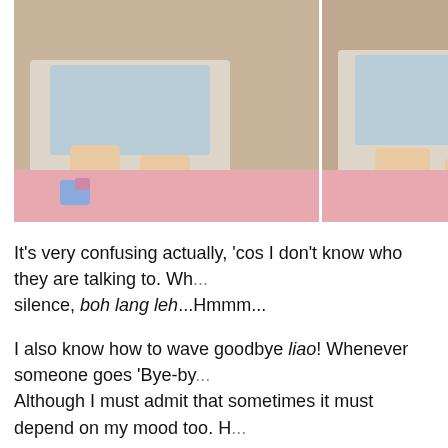[Figure (photo): Three-panel photo strip of a baby sitting on a pink surface, holding various objects including what appears to be a bottle, shown from different angles]
It's very confusing actually, 'cos I don't know who they are talking to. Wh... silence, boh lang leh...Hmmm...
I also know how to wave goodbye liao! Whenever someone goes 'Bye-bye... Although I must admit that sometimes it must depend on my mood too. H...
In addition, I have mastered the dance moves to that 'Twinkle Twinkle Lit... it's only ONE dance move. Just the closing and opening of my hands whe... should suffice for now...hahaha...
Since we are on hand movements, I can also turn my wrist right & left rep... more...no more...! Everytime I finish my food, when Grandma says 'No mo...